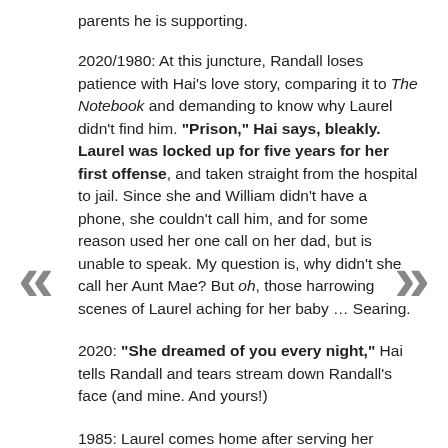parents he is supporting.
2020/1980: At this juncture, Randall loses patience with Hai's love story, comparing it to The Notebook and demanding to know why Laurel didn't find him. “Prison,” Hai says, bleakly. Laurel was locked up for five years for her first offense, and taken straight from the hospital to jail. Since she and William didn’t have a phone, she couldn’t call him, and for some reason used her one call on her dad, but is unable to speak. My question is, why didn’t she call her Aunt Mae? But oh, those harrowing scenes of Laurel aching for her baby … Searing.
2020: “She dreamed of you every night,” Hai tells Randall and tears stream down Randall’s face (and mine. And yours!)
1985: Laurel comes home after serving her absurdly unjust sentence, and Aunt Mae is there to enfold her broken niece in her arms. It’s too late to find her baby, Laurel thinks.